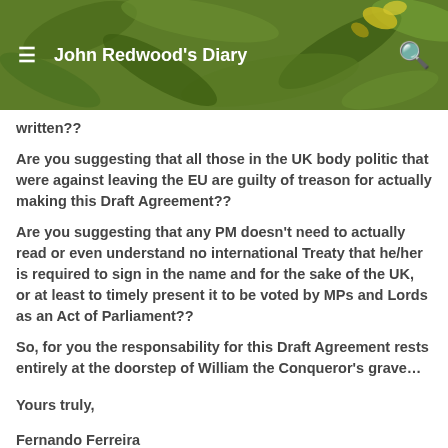John Redwood's Diary
written??
Are you suggesting that all those in the UK body politic that were against leaving the EU are guilty of treason for actually making this Draft Agreement??
Are you suggesting that any PM doesn’t need to actually read or even understand no international Treaty that he/her is required to sign in the name and for the sake of the UK, or at least to timely present it to be voted by MPs and Lords as an Act of Parliament??
So, for you the responsability for this Draft Agreement rests entirely at the doorstep of William the Conqueror’s grave…
Yours truly,
Fernando Ferreira